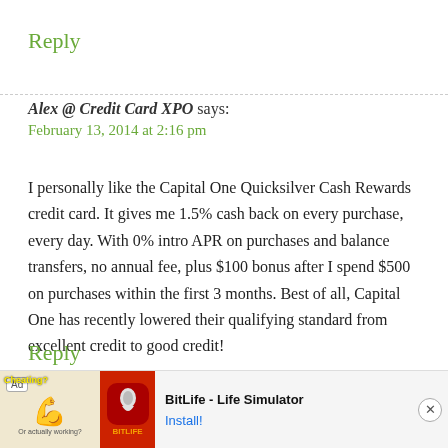Reply
Alex @ Credit Card XPO says:
February 13, 2014 at 2:16 pm
I personally like the Capital One Quicksilver Cash Rewards credit card. It gives me 1.5% cash back on every purchase, every day. With 0% intro APR on purchases and balance transfers, no annual fee, plus $100 bonus after I spend $500 on purchases within the first 3 months. Best of all, Capital One has recently lowered their qualifying standard from excellent credit to good credit!
[Figure (screenshot): Advertisement banner for BitLife - Life Simulator app with muscle icon graphic and install button]